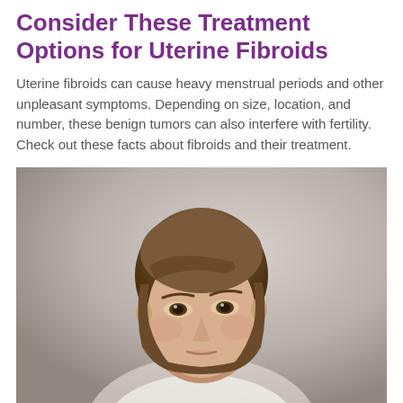Consider These Treatment Options for Uterine Fibroids
Uterine fibroids can cause heavy menstrual periods and other unpleasant symptoms. Depending on size, location, and number, these benign tumors can also interfere with fertility. Check out these facts about fibroids and their treatment.
[Figure (photo): Portrait photo of a young woman with short brown hair and a concerned or pensive expression, wearing a white top, against a neutral gray background.]